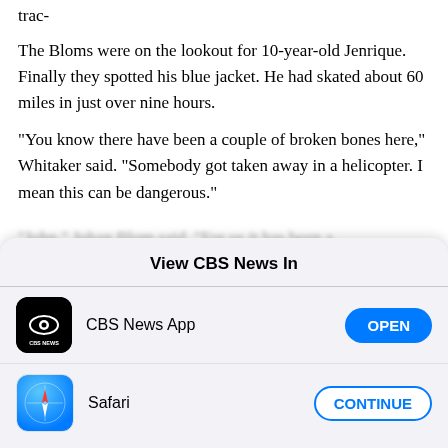trac-
The Bloms were on the lookout for 10-year-old Jenrique. Finally they spotted his blue jacket. He had skated about 60 miles in just over nine hours.
"You know there have been a couple of broken bones here," Whitaker said. "Somebody got taken away in a helicopter. I mean this can be dangerous."
[Figure (screenshot): iOS app picker modal sheet showing 'View CBS News In' title, with two rows: CBS News App with an OPEN button, and Safari with a CONTINUE button.]